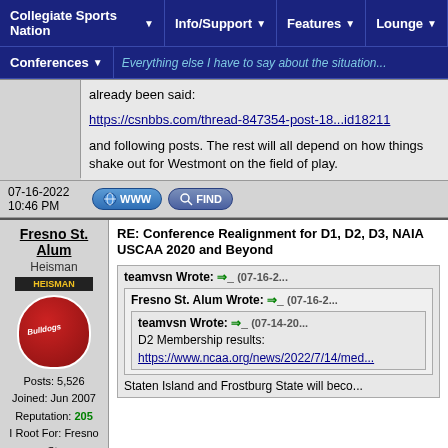Collegiate Sports Nation | Info/Support | Features | Lounge | Conferences
Everything else I have to say about the situation has already been said:
https://csnbbs.com/thread-847354-post-18...id18211
and following posts. The rest will all depend on how things shake out for Westmont on the field of play.
07-16-2022 10:46 PM
Fresno St. Alum
Heisman
Posts: 5,526
Joined: Jun 2007
Reputation: 205
I Root For: Fresno St.
Location: CA
RE: Conference Realignment for D1, D2, D3, NAIA USCAA 2020 and Beyond
teamvsn Wrote: => (07-16-2-
Fresno St. Alum Wrote: => (07-16-20
teamvsn Wrote: => (07-14-20
D2 Membership results:
https://www.ncaa.org/news/2022/7/14/med
Staten Island and Frostburg State will beco